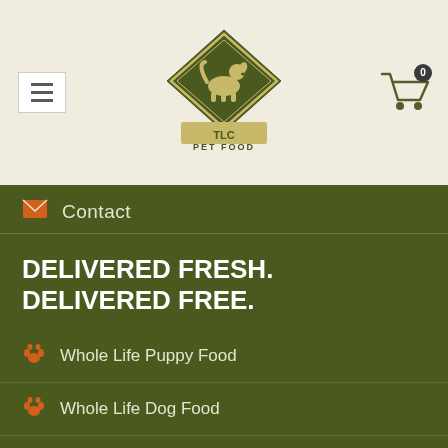[Figure (logo): TLC Pet Food logo — diamond shape with dog silhouette, text TLC PET FOOD]
Contact
DELIVERED FRESH. DELIVERED FREE.
Whole Life Puppy Food
Whole Life Dog Food
Whole Life Cat Food
Whole Life Dog Biscuits
The TLC Scoop
Shipping & Delivery